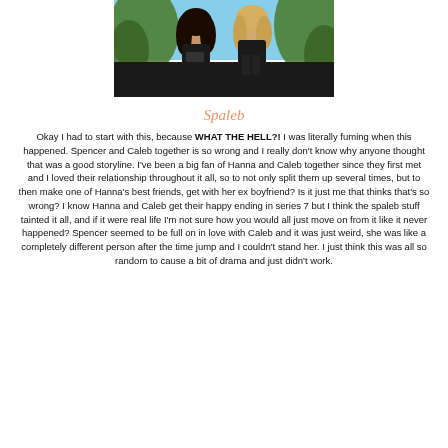[Figure (photo): Two young women in dark clothing posing outdoors with trees in background and blue sky]
Spaleb
Okay I had to start with this, because WHAT THE HELL?! I was literally fuming when this happened. Spencer and Caleb together is so wrong and I really don't know why anyone thought that was a good storyline. I've been a big fan of Hanna and Caleb together since they first met and I loved their relationship throughout it all, so to not only split them up several times, but to then make one of Hanna's best friends, get with her ex boyfriend? Is it just me that thinks that's so wrong? I know Hanna and Caleb get their happy ending in series 7 but I think the spaleb stuff tainted it all, and if it were real life I'm not sure how you would all just move on from it like it never happened? Spencer seemed to be full on in love with Caleb and it was just weird, she was like a completely different person after the time jump and I couldn't stand her. I just think this was all so random to cause a bit of drama and just didn't work.